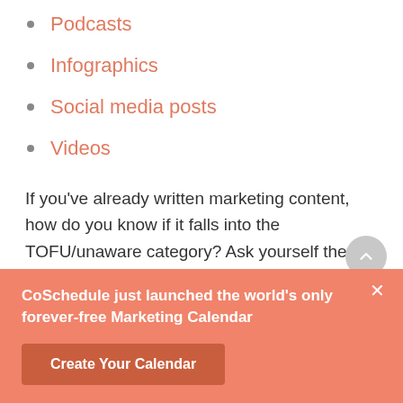Podcasts
Infographics
Social media posts
Videos
If you've already written marketing content, how do you know if it falls into the TOFU/unaware category? Ask yourself these two questions:
1. Does this content relate broadly to your
CoSchedule just launched the world's only forever-free Marketing Calendar
Create Your Calendar